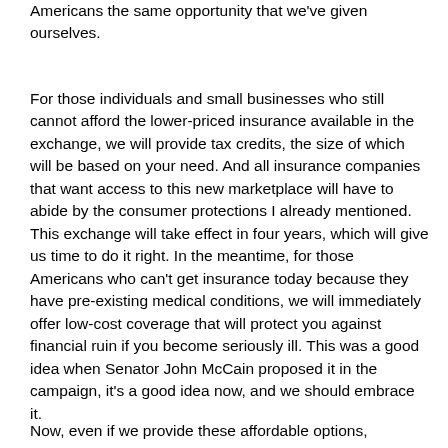Americans the same opportunity that we've given ourselves.
For those individuals and small businesses who still cannot afford the lower-priced insurance available in the exchange, we will provide tax credits, the size of which will be based on your need. And all insurance companies that want access to this new marketplace will have to abide by the consumer protections I already mentioned. This exchange will take effect in four years, which will give us time to do it right. In the meantime, for those Americans who can't get insurance today because they have pre-existing medical conditions, we will immediately offer low-cost coverage that will protect you against financial ruin if you become seriously ill. This was a good idea when Senator John McCain proposed it in the campaign, it's a good idea now, and we should embrace it.
Now, even if we provide these affordable options,